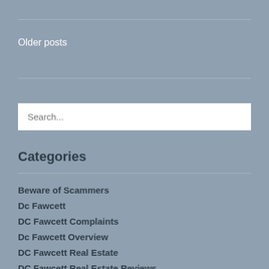Older posts
Search...
Categories
Beware of Scammers
Dc Fawcett
DC Fawcett Complaints
Dc Fawcett Overview
DC Fawcett Real Estate
DC Fawcett Real Estate Reviews